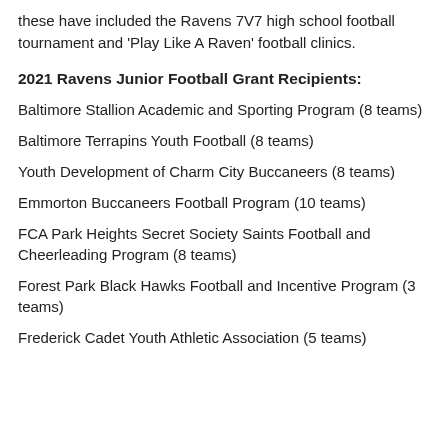these have included the Ravens 7V7 high school football tournament and 'Play Like A Raven' football clinics.
2021 Ravens Junior Football Grant Recipients:
Baltimore Stallion Academic and Sporting Program (8 teams)
Baltimore Terrapins Youth Football (8 teams)
Youth Development of Charm City Buccaneers (8 teams)
Emmorton Buccaneers Football Program (10 teams)
FCA Park Heights Secret Society Saints Football and Cheerleading Program (8 teams)
Forest Park Black Hawks Football and Incentive Program (3 teams)
Frederick Cadet Youth Athletic Association (5 teams)